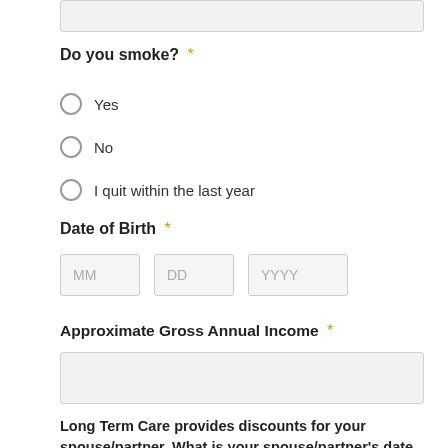Do you smoke? *
Yes
No
I quit within the last year
Date of Birth *
MM DD YYYY
Approximate Gross Annual Income *
Long Term Care provides discounts for your spouse/partner. What is your spouse/partner's date of birth: